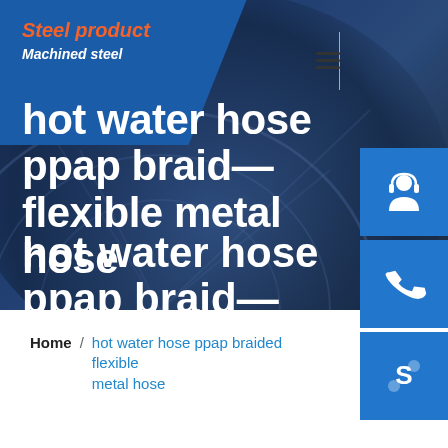[Figure (screenshot): Website header with blue banner showing 'Steel product / Machined steel' logo, dark navy hero background with automotive wheel imagery, white menu icon, and three blue side buttons (customer service, phone, Skype)]
hot water hose ppap braided flexible metal hose
Home / hot water hose ppap braided flexible metal hose